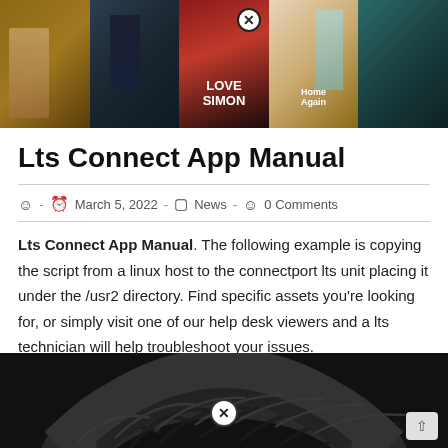[Figure (photo): Movie streaming app screenshot showing a grid of movie tiles including 'Love Simon' and 'Home Again' on a dark background with a close/remove button overlay]
Lts Connect App Manual
- March 5, 2022 - News - 0 Comments
Lts Connect App Manual. The following example is copying the script from a linux host to the connectport lts unit placing it under the /usr2 directory. Find specific assets you're looking for, or simply visit one of our help desk viewers and a lts technician will help troubleshoot your issues.
[Figure (photo): Bottom portion of a dark tire tread on a black background with a close/remove button overlay]